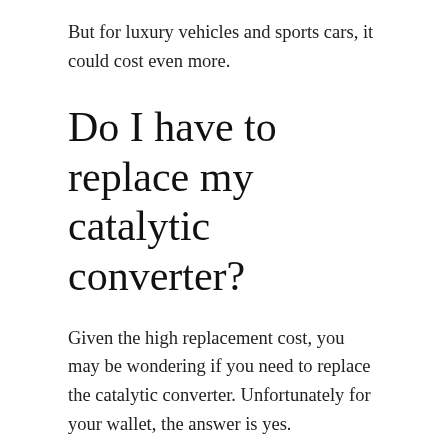But for luxury vehicles and sports cars, it could cost even more.
Do I have to replace my catalytic converter?
Given the high replacement cost, you may be wondering if you need to replace the catalytic converter. Unfortunately for your wallet, the answer is yes.
Because your catalytic converter is designed to remove harmful pollutants, it's actually federally illegal to remove it from your exhaust system.